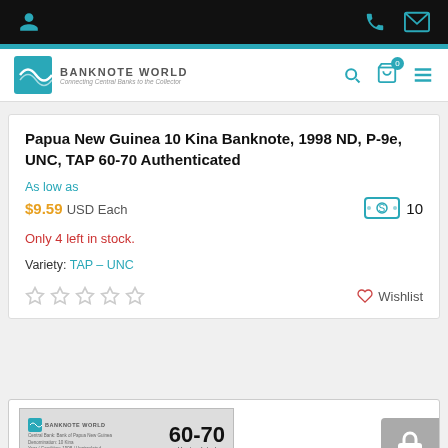Banknote World — navigation bar with logo, search, cart, and menu icons
Papua New Guinea 10 Kina Banknote, 1998 ND, P-9e, UNC, TAP 60-70 Authenticated
As low as
$9.59 USD Each  [cash icon] 10
Only 4 left in stock.
Variety: TAP – UNC
★☆☆☆☆   ♡ Wishlist
[Figure (photo): Partial view of a graded banknote slab showing Banknote World logo and grade 60-70 Uncirculated for Papua New Guinea 10 Kina]